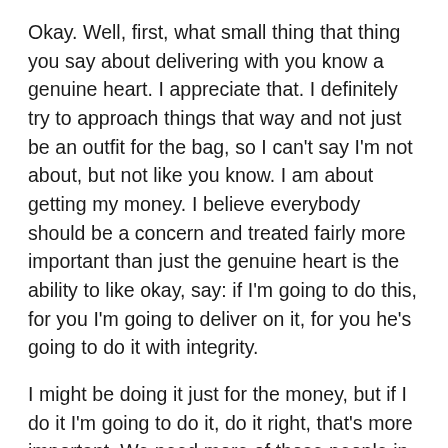Okay. Well, first, what small thing that thing you say about delivering with you know a genuine heart. I appreciate that. I definitely try to approach things that way and not just be an outfit for the bag, so I can't say I'm not about, but not like you know. I am about getting my money. I believe everybody should be a concern and treated fairly more important than just the genuine heart is the ability to like okay, say: if I'm going to do this, for you I'm going to deliver on it, for you he's going to do it with integrity.
I might be doing it just for the money, but if I do it I'm going to do it, do it right, that's more important. We need more of those people in Hinch and life in general when it comes to following me, brand man pran be man in a n. You can find on my youtube blog. I encourage you heavily to check out brand man network com. The goal is not just to get the